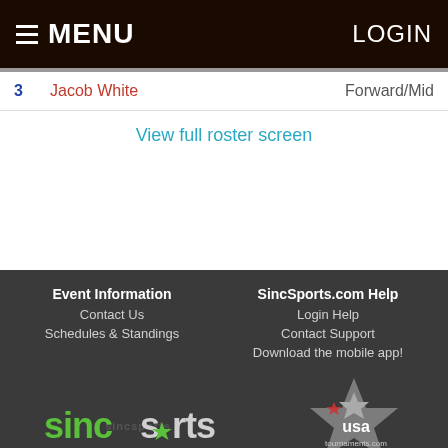MENU | LOGIN
| # | Name | Position |
| --- | --- | --- |
| 3 | Jacob White | Forward/Mid |
View full roster screen
Event Information
Contact Us
Schedules & Standings
SincSports.com Help
Login Help
Contact Support
Download the mobile app!
[Figure (logo): SincSports logo in green and white text]
[Figure (logo): USA Tournaments logo with star graphic]